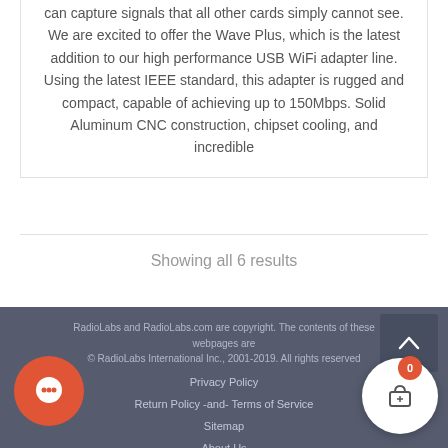can capture signals that all other cards simply cannot see. We are excited to offer the Wave Plus, which is the latest addition to our high performance USB WiFi adapter line. Using the latest IEEE standard, this adapter is rugged and compact, capable of achieving up to 150Mbps. Solid Aluminum CNC construction, chipset cooling, and incredible
Showing all 6 results
RadioLabs and RadioLabs.com are copyright. The contents of these webpages are © RadioLabs International Inc., 2001-2019. All rights reserved. Privacy Policy Return Policy -and- Terms of Service Sitemap About Us Contact us Return Policy and Warranty Details || RadioLabs